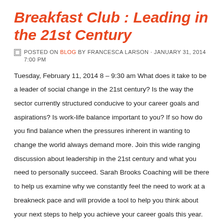Breakfast Club : Leading in the 21st Century
POSTED ON BLOG BY FRANCESCA LARSON · JANUARY 31, 2014 7:00 PM
Tuesday, February 11, 2014 8 – 9:30 am What does it take to be a leader of social change in the 21st century? Is the way the sector currently structured conducive to your career goals and aspirations? Is work-life balance important to you? If so how do you find balance when the pressures inherent in wanting to change the world always demand more. Join this wide ranging discussion about leadership in the 21st century and what you need to personally succeed. Sarah Brooks Coaching will be there to help us examine why we constantly feel the need to work at a breakneck pace and will provide a tool to help you think about your next steps to help you achieve your career goals this year. All attendees will be eligible for a free one hour follow-